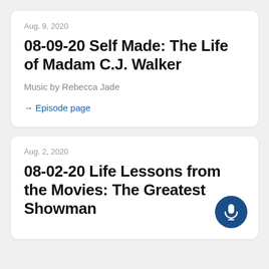Aug. 9, 2020
08-09-20 Self Made: The Life of Madam C.J. Walker
Music by Rebecca Jade
→ Episode page
Aug. 2, 2020
08-02-20 Life Lessons from the Movies: The Greatest Showman